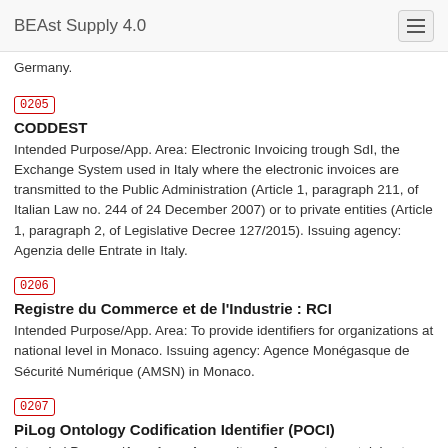BEAst Supply 4.0
Germany.
0205
CODDEST
Intended Purpose/App. Area: Electronic Invoicing trough SdI, the Exchange System used in Italy where the electronic invoices are transmitted to the Public Administration (Article 1, paragraph 211, of Italian Law no. 244 of 24 December 2007) or to private entities (Article 1, paragraph 2, of Legislative Decree 127/2015). Issuing agency: Agenzia delle Entrate in Italy.
0206
Registre du Commerce et de l’Industrie : RCI
Intended Purpose/App. Area: To provide identifiers for organizations at national level in Monaco. Issuing agency: Agence Monégasque de Sécurité Numérique (AMSN) in Monaco.
0207
PiLog Ontology Codification Identifier (POCI)
Intended Purpose/App. Area: A repository of concepts pertaining to any entity such as products, services, business partners, assets, organizations, locations, persons, addresses, languages, records